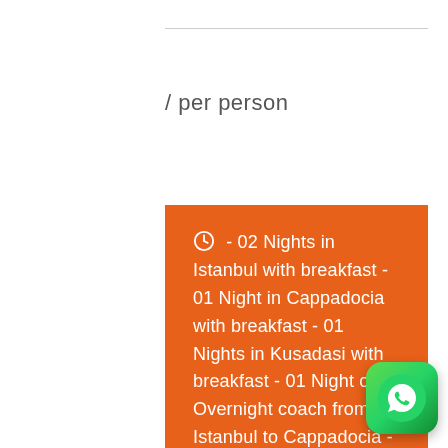/ per person
- 02 Nights in Istanbul with breakfast - 01 Night in Cappadocia with breakfast - 01 Nights in Kusadasi with breakfast - 01 Night on Overnight coach from Istanbul to Cappadocia - 01 Night on Overnight coach from Cappadocia to Pamukkale - 01 Night on Overnight coach from Ephesus to Istanbul
18+
[Figure (logo): WhatsApp logo button, green rounded square with white phone handset icon]